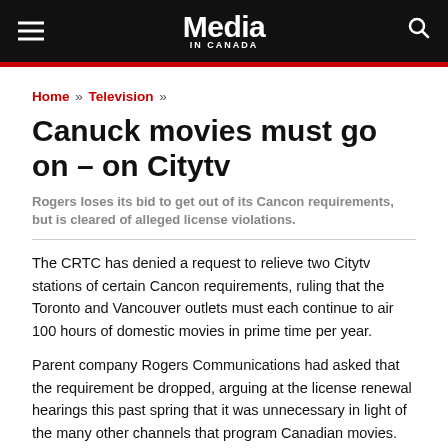Media In Canada
Home » Television »
Canuck movies must go on – on Citytv
Rogers loses its bid to get out of its Cancon requirements, but is cleared of alleged license violations.
The CRTC has denied a request to relieve two Citytv stations of certain Cancon requirements, ruling that the Toronto and Vancouver outlets must each continue to air 100 hours of domestic movies in prime time per year.
Parent company Rogers Communications had asked that the requirement be dropped, arguing at the license renewal hearings this past spring that it was unnecessary in light of the many other channels that program Canadian movies.